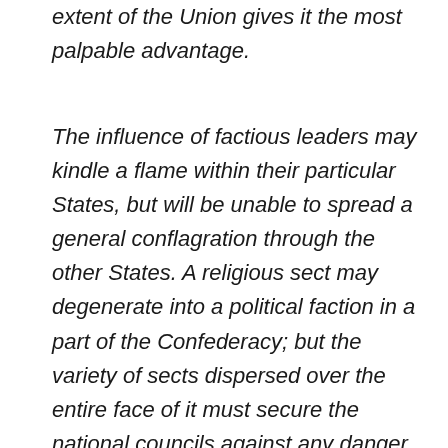extent of the Union gives it the most palpable advantage.
The influence of factious leaders may kindle a flame within their particular States, but will be unable to spread a general conflagration through the other States. A religious sect may degenerate into a political faction in a part of the Confederacy; but the variety of sects dispersed over the entire face of it must secure the national councils against any danger